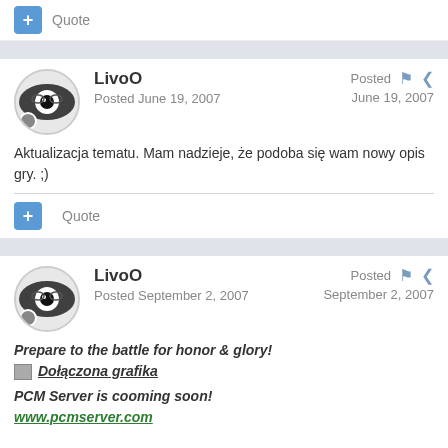Quote
LivoO
Posted June 19, 2007
Posted June 19, 2007
Aktualizacja tematu. Mam nadzieje, że podoba się wam nowy opis gry. ;)
Quote
LivoO
Posted September 2, 2007
Posted September 2, 2007
Prepare to the battle for honor & glory!
Dołączona grafika
PCM Server is cooming soon!
www.pcmserver.com